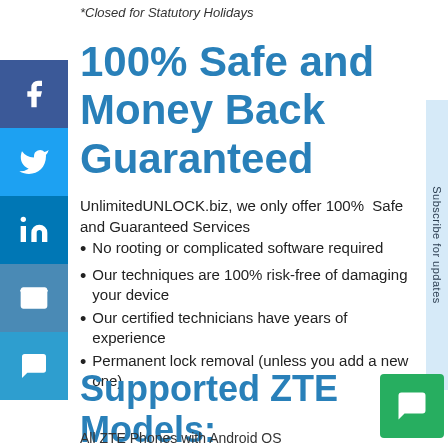*Closed for Statutory Holidays
100% Safe and Money Back Guaranteed
UnlimitedUNLOCK.biz, we only offer 100% Safe and Guaranteed Services
No rooting or complicated software required
Our techniques are 100% risk-free of damaging your device
Our certified technicians have years of experience
Permanent lock removal (unless you add a new one)
Supported ZTE Models:
All ZTE Phones with Android OS